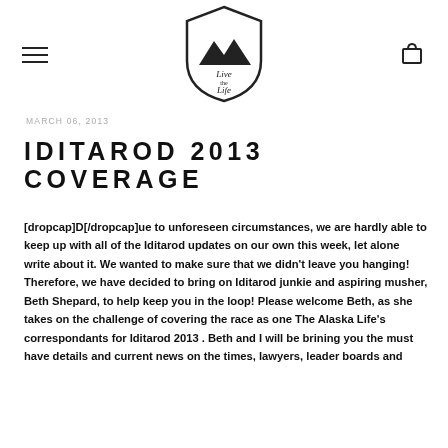[Figure (logo): Live The Life logo — shield shape with mountains, cursive text 'Live The Life']
MARCH 06, 2013
IDITAROD 2013 COVERAGE
[dropcap]D[/dropcap]ue to unforeseen circumstances, we are hardly able to keep up with all of the Iditarod updates on our own this week, let alone write about it. We wanted to make sure that we didn't leave you hanging! Therefore, we have decided to bring on Iditarod junkie and aspiring musher, Beth Shepard, to help keep you in the loop! Please welcome Beth, as she takes on the challenge of covering the race as one The Alaska Life's correspondants for Iditarod 2013 . Beth and I will be brining you the must have details and current news on the times, lawyers, leader boards and